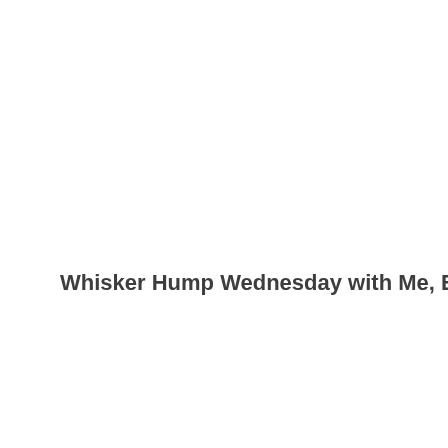Whisker Hump Wednesday with Me, Brian